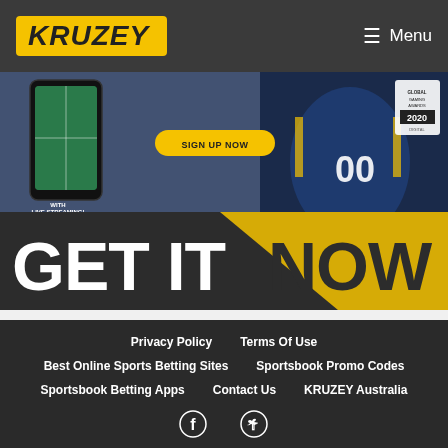KRUZEY | Menu
[Figure (photo): Sports betting promotional banner with a person in a football jersey, a mobile phone showing a tennis app with live streaming, a 'SIGN UP NOW' button, and large text reading 'GET IT NOW' on a dark background with yellow diagonal accent]
Privacy Policy | Terms Of Use | Best Online Sports Betting Sites | Sportsbook Promo Codes | Sportsbook Betting Apps | Contact Us | KRUZEY Australia